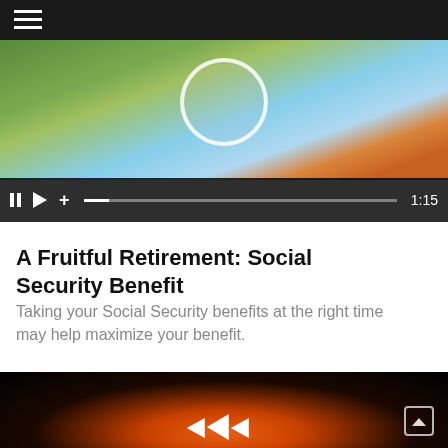Navigation menu header bar
[Figure (screenshot): Video player screenshot showing a person holding a smartphone displaying oranges/fruit with a circular logo overlay, with video controls showing pause button, play button, plus button, progress bar, and timestamp 1:15]
A Fruitful Retirement: Social Security Benefit
Taking your Social Security benefits at the right time may help maximize your benefit.
[Figure (screenshot): Dark video thumbnail showing hands holding a phone in low light with illuminated arrow/navigation graphic elements and a scroll-up button in the bottom right corner]